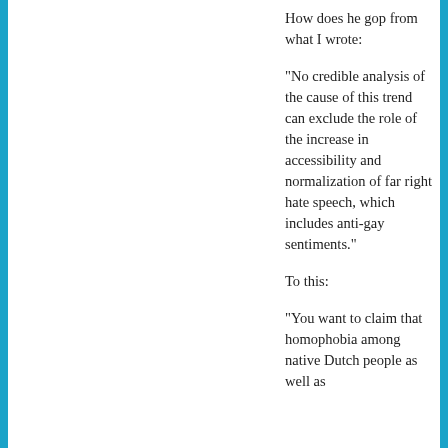How does he gop from what I wrote:
“No credible analysis of the cause of this trend can exclude the role of the increase in accessibility and normalization of far right hate speech, which includes anti-gay sentiments.”
To this:
“You want to claim that homophobia among native Dutch people as well as